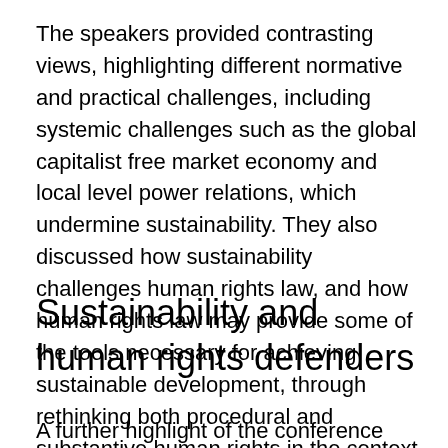The speakers provided contrasting views, highlighting different normative and practical challenges, including systemic challenges such as the global capitalist free market economy and local level power relations, which undermine sustainability. They also discussed how sustainability challenges human rights law, and how human rights law may provide some of the tools necessary for achieving sustainable development, through rethinking both procedural and substantive human rights in the context of sustainability.
Sustainability and human rights defenders
A further highlight of the conference was a